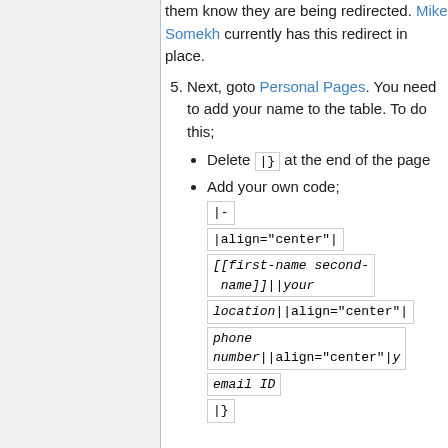message you put up to let them know they are being redirected. Mike Somekh currently has this redirect in place.
5. Next, goto Personal Pages. You need to add your name to the table. To do this;
Delete |} at the end of the page
Add your own code; |- |align="center"| [[first-name second-name]]||your location||align="center"| phone number||align="center"|your email ID |}